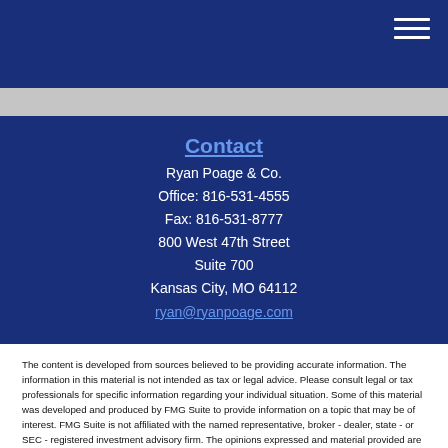Contact
Ryan Poage & Co.
Office: 816-531-4555
Fax: 816-531-8777
800 West 47th Street
Suite 700
Kansas City, MO 64112
ryan@ryanpoage.com
The content is developed from sources believed to be providing accurate information. The information in this material is not intended as tax or legal advice. Please consult legal or tax professionals for specific information regarding your individual situation. Some of this material was developed and produced by FMG Suite to provide information on a topic that may be of interest. FMG Suite is not affiliated with the named representative, broker - dealer, state - or SEC - registered investment advisory firm. The opinions expressed and material provided are for general information, and should not be considered a solicitation for the purchase or sale of any security.